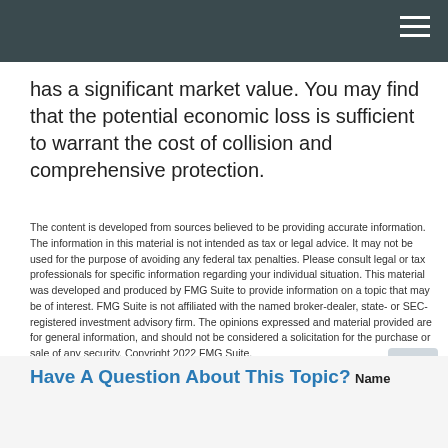has a significant market value. You may find that the potential economic loss is sufficient to warrant the cost of collision and comprehensive protection.
The content is developed from sources believed to be providing accurate information. The information in this material is not intended as tax or legal advice. It may not be used for the purpose of avoiding any federal tax penalties. Please consult legal or tax professionals for specific information regarding your individual situation. This material was developed and produced by FMG Suite to provide information on a topic that may be of interest. FMG Suite is not affiliated with the named broker-dealer, state- or SEC-registered investment advisory firm. The opinions expressed and material provided are for general information, and should not be considered a solicitation for the purchase or sale of any security. Copyright 2022 FMG Suite.
+ Share |
Have A Question About This Topic?
Name